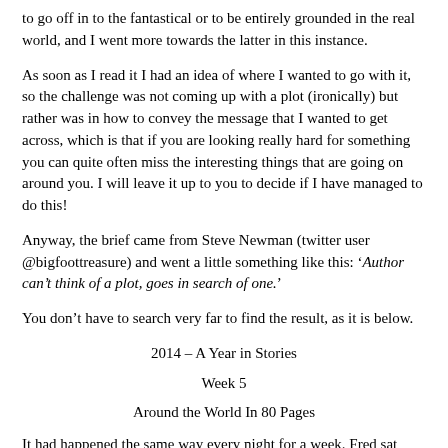to go off in to the fantastical or to be entirely grounded in the real world, and I went more towards the latter in this instance.
As soon as I read it I had an idea of where I wanted to go with it, so the challenge was not coming up with a plot (ironically) but rather was in how to convey the message that I wanted to get across, which is that if you are looking really hard for something you can quite often miss the interesting things that are going on around you. I will leave it up to you to decide if I have managed to do this!
Anyway, the brief came from Steve Newman (twitter user @bigfoottreasure) and went a little something like this: ‘Author can’t think of a plot, goes in search of one.’
You don’t have to search very far to find the result, as it is below.
2014 – A Year in Stories
Week 5
Around the World In 80 Pages
It had happened the same way every night for a week. Fred sat down in front of his computer and stared at the blank document open on the screen